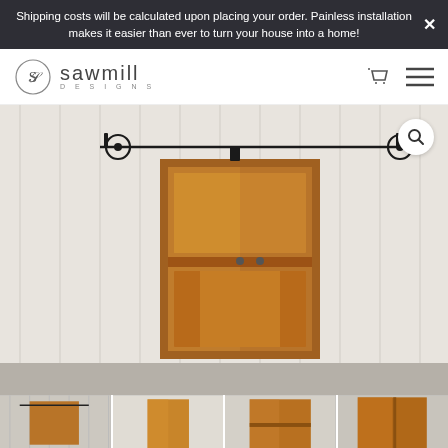Shipping costs will be calculated upon placing your order. Painless installation makes it easier than ever to turn your house into a home!
[Figure (logo): Sawmill Designs logo: circle with 'S' monogram and text 'sawmill DESIGNS']
[Figure (photo): A rustic wood barn door hanging on a black sliding barn door track hardware system, mounted against a white shiplap wall. The door features three panels in warm honey oak tones.]
[Figure (photo): Row of thumbnail product images at the bottom showing alternate views of the barn door]